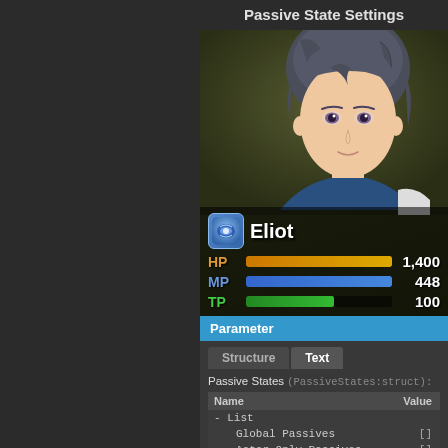Passive State Settings
[Figure (screenshot): RPG game character status screen showing character 'Eliot' with HP 1,400, MP 448, TP 100, with an anime-style character portrait]
Parameter
| Name | Value |
| --- | --- |
| - List |  |
|     Global Passives | [] |
|     Actor-Only Passives | [] |
|     Enemy Passives | [] |
| - Global JS Effects |  |